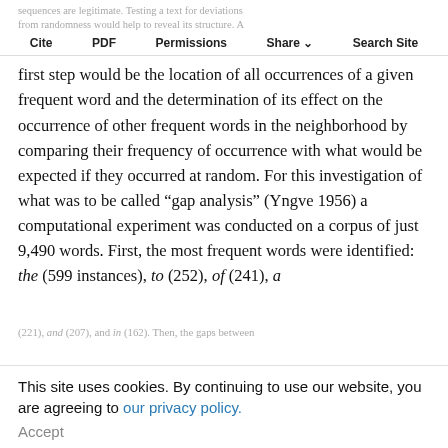sequences are legitimate. Testing a text for deviations from randomness would help to reveal its structure. A
Cite   PDF   Permissions   Share   Search Site
first step would be the location of all occurrences of a given frequent word and the determination of its effect on the occurrence of other frequent words in the neighborhood by comparing their frequency of occurrence with what would be expected if they occurred at random. For this investigation of what was to be called “gap analysis” (Yngve 1956) a computational experiment was conducted on a corpus of just 9,490 words. First, the most frequent words were identified: the (599 instances), to (252), of (241), a
(221), and (207), and in (162). Then, the gaps between these words were determined (numbers of intervening words). In the case of of and the the gaps were one (the ___ of), two (the ___ ___ of), three (the
This site uses cookies. By continuing to use our website, you are agreeing to our privacy policy.
Accept